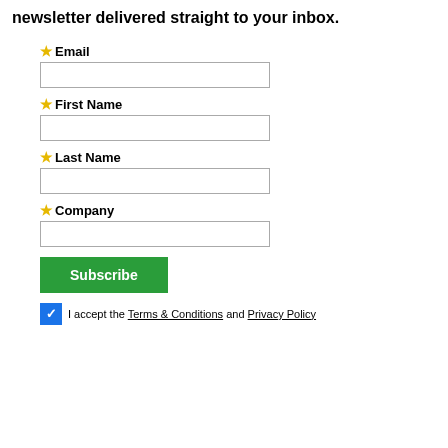newsletter delivered straight to your inbox.
* Email
* First Name
* Last Name
* Company
Subscribe
I accept the Terms & Conditions and Privacy Policy